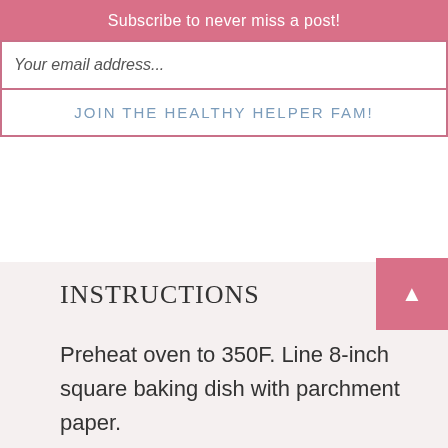Subscribe to never miss a post!
Your email address...
JOIN THE HEALTHY HELPER FAM!
INSTRUCTIONS
Preheat oven to 350F. Line 8-inch square baking dish with parchment paper.
In a medium bowl, combine oats, protein, salt, herbs & spices, nutritional yeast, and ground flax. Finely chop the